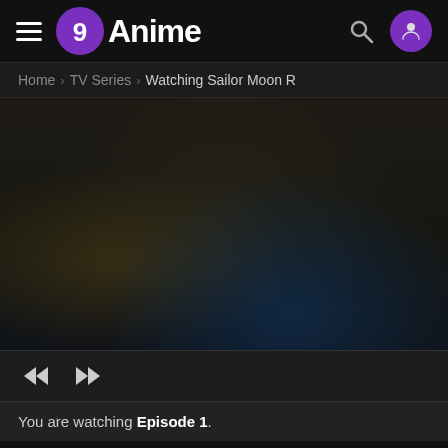[Figure (screenshot): 9Anime website navigation bar with hamburger menu, 9Anime logo (purple circle with 9 and white Anime text), search icon, and purple user profile icon]
Home › TV Series › Watching Sailor Moon R
[Figure (screenshot): Blurred dark video player area showing an anime scene with dark background tones]
[Figure (screenshot): Video player controls bar with rewind and fast-forward buttons]
You are watching Episode 1.